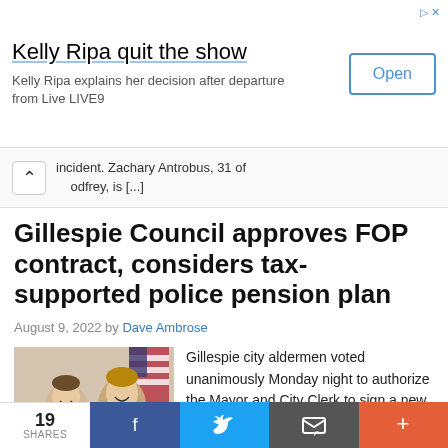[Figure (infographic): Advertisement banner: 'Kelly Ripa quit the show' with subtitle 'Kelly Ripa explains her decision after departure from Live LIVE9' and an Open button]
incident. Zachary Antrobus, 31 of Godfrey, is [...]
Gillespie Council approves FOP contract, considers tax-supported police pension plan
August 9, 2022 by Dave Ambrose
[Figure (photo): Two men posing together, one in a suit and tie, the other in a police uniform with a badge, with an American flag in the background]
Gillespie city aldermen voted unanimously Monday night to authorize the Mayor and City Clerk to sign a new contract with the Fraternal Order of Police which authorizes substantial wage increases for city police off...